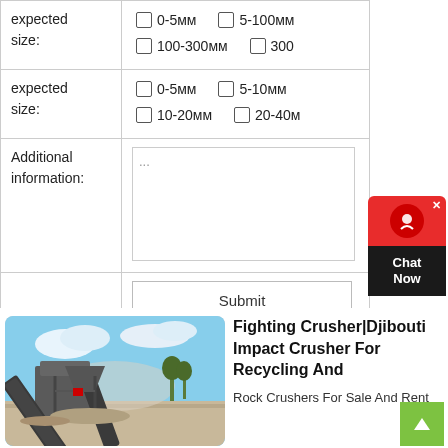| Label | Options |
| --- | --- |
| expected size: | 0-5мм  5-100мм  100-300мм  300+ |
| expected size: | 0-5мм  5-10мм  10-20мм  20-40мм |
| Additional information: | ... |
|  | Submit |
[Figure (screenshot): Chat Now widget with red top section and dark bottom section]
[Figure (photo): Outdoor rock crushing plant with conveyor belts and machinery at a quarry site]
Fighting Crusher|Djibouti Impact Crusher For Recycling And
Rock Crushers For Sale And Rent